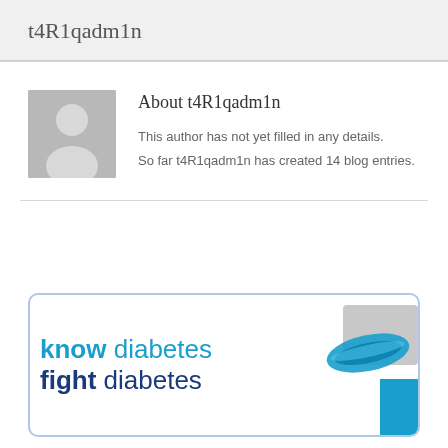t4R1qadm1n
About t4R1qadm1n
This author has not yet filled in any details.
So far t4R1qadm1n has created 14 blog entries.
[Figure (illustration): Know diabetes fight diabetes banner with blue wristband graphic]